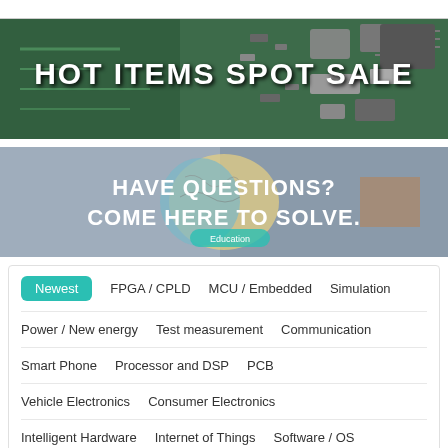[Figure (photo): Electronics components and circuit boards on a surface with text overlay: HOT ITEMS SPOT SALE]
[Figure (photo): Brain illustration with educational concept art and text overlay: HAVE QUESTIONS? COME HERE TO SOLVE.]
Newest
FPGA / CPLD
MCU / Embedded
Simulation
Power / New energy
Test measurement
Communication
Smart Phone
Processor and DSP
PCB
Vehicle Electronics
Consumer Electronics
Intelligent Hardware
Internet of Things
Software / OS